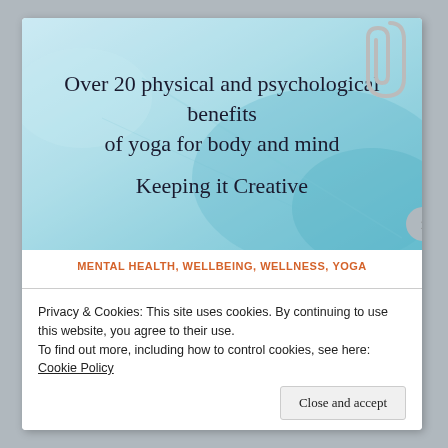[Figure (illustration): Hero image with light blue/teal watercolor or frosted glass background. Text overlay in cursive script reads: 'Over 20 physical and psychological benefits of yoga for body and mind' and 'Keeping it Creative'. A paperclip graphic is visible at the top right corner.]
MENTAL HEALTH, WELLBEING, WELLNESS, YOGA
Privacy & Cookies: This site uses cookies. By continuing to use this website, you agree to their use.
To find out more, including how to control cookies, see here: Cookie Policy